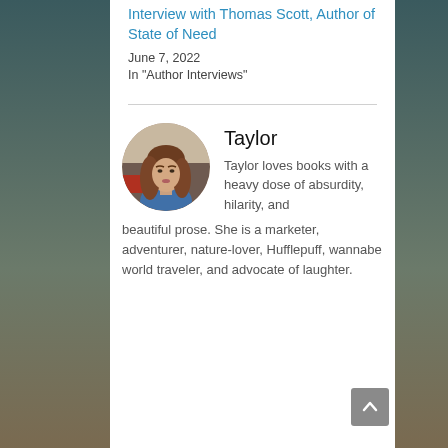Interview with Thomas Scott, Author of State of Need
June 7, 2022
In "Author Interviews"
[Figure (photo): Circular profile photo of Taylor, a woman with long brown wavy hair wearing a blue top, photographed outdoors with a blurred urban background.]
Taylor
Taylor loves books with a heavy dose of absurdity, hilarity, and beautiful prose. She is a marketer, adventurer, nature-lover, Hufflepuff, wannabe world traveler, and advocate of laughter.